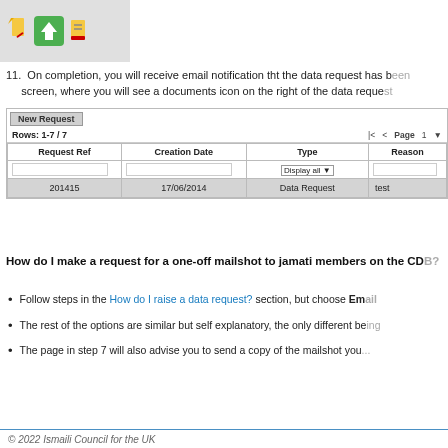[Figure (screenshot): Screenshot showing toolbar icons: pencil (edit), green download arrow, red delete icon on grey background]
11. On completion, you will receive email notification tht the data request has been completed. Return to data requests screen, where you will see a documents icon on the right of the data reque...
[Figure (screenshot): Screenshot of data requests table showing: New Request button, Rows: 1-7/7, pagination controls, columns: Request Ref, Creation Date, Type, Reason. Data row: 201415, 17/06/2014, Data Request, test]
How do I make a request for a one-off mailshot to jamati members on the CD...
Follow steps in the How do I raise a data request? section, but choose Em...
The rest of the options are similar but self explanatory, the only different be...
The page in step 7 will also advise you to send a copy of the mailshot you...
© 2022 Ismaili Council for the UK